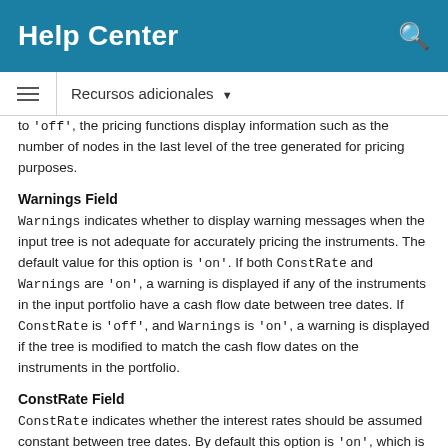Help Center
Recursos adicionales
to 'off', the pricing functions display information such as the number of nodes in the last level of the tree generated for pricing purposes.
Warnings Field
Warnings indicates whether to display warning messages when the input tree is not adequate for accurately pricing the instruments. The default value for this option is 'on'. If both ConstRate and Warnings are 'on', a warning is displayed if any of the instruments in the input portfolio have a cash flow date between tree dates. If ConstRate is 'off', and Warnings is 'on', a warning is displayed if the tree is modified to match the cash flow dates on the instruments in the portfolio.
ConstRate Field
ConstRate indicates whether the interest rates should be assumed constant between tree dates. By default this option is 'on', which is not an arbitrage-free assumption. So the pricing functions return an approximate price for instruments featuring...